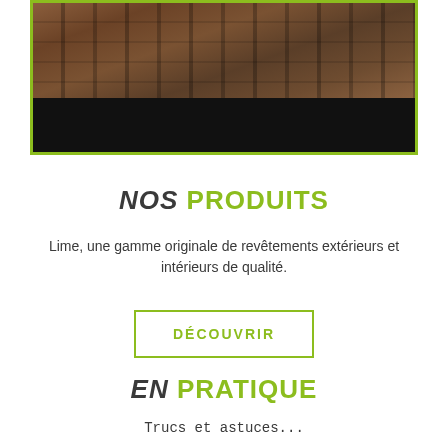[Figure (photo): Photo of wooden frame structure with dark lower section, framed by a green border]
NOS PRODUITS
Lime, une gamme originale de revêtements extérieurs et intérieurs de qualité.
DÉCOUVRIR
EN PRATIQUE
Trucs et astuces...